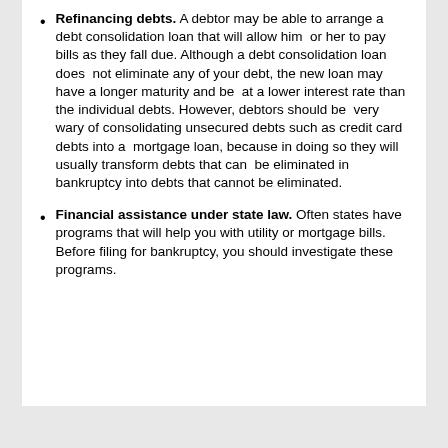Refinancing debts. A debtor may be able to arrange a debt consolidation loan that will allow him or her to pay bills as they fall due. Although a debt consolidation loan does not eliminate any of your debt, the new loan may have a longer maturity and be at a lower interest rate than the individual debts. However, debtors should be very wary of consolidating unsecured debts such as credit card debts into a mortgage loan, because in doing so they will usually transform debts that can be eliminated in bankruptcy into debts that cannot be eliminated.
Financial assistance under state law. Often states have programs that will help you with utility or mortgage bills. Before filing for bankruptcy, you should investigate these programs.